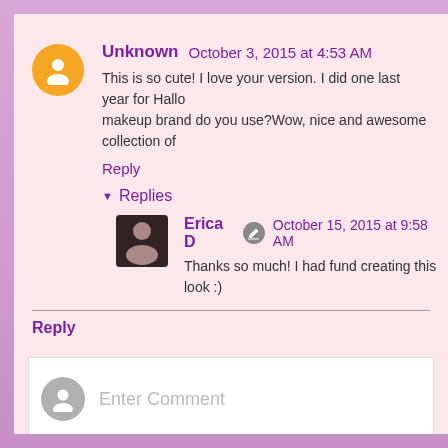Unknown  October 3, 2015 at 4:53 AM
This is so cute! I love your version. I did one last year for Hallo... makeup brand do you use?Wow, nice and awesome collection of...
Reply
Replies
Erica D  October 15, 2015 at 9:58 AM
Thanks so much! I had fund creating this look :)
Reply
Enter Comment
Thank you for taking the time to leave a comment. I love hearing from a...